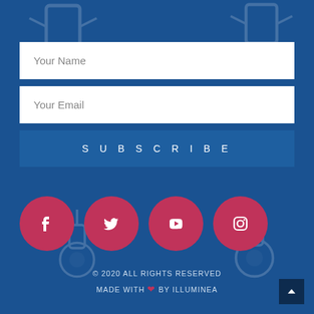Your Name
Your Email
SUBSCRIBE
[Figure (illustration): Four pink/crimson circular social media icons: Facebook, Twitter, YouTube, Instagram]
© 2020 ALL RIGHTS RESERVED
MADE WITH ❤ BY ILLUMINEA